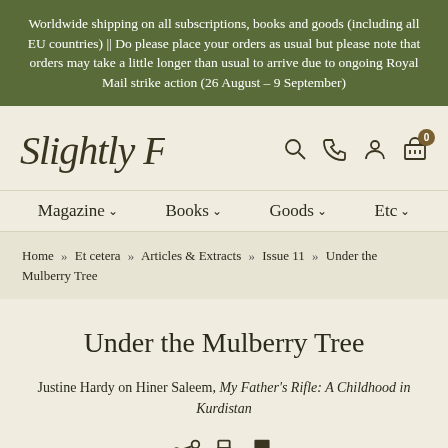Worldwide shipping on all subscriptions, books and goods (including all EU countries) || Do please place your orders as usual but please note that orders may take a little longer than usual to arrive due to ongoing Royal Mail strike action (26 August – 9 September)
[Figure (logo): Slightly Foxed handwritten-style logo text]
Magazine  Books  Goods  Etc
Home » Et cetera » Articles & Extracts » Issue 11 » Under the Mulberry Tree
Under the Mulberry Tree
Justine Hardy on Hiner Saleem, My Father's Rifle: A Childhood in Kurdistan
[Figure (other): Share, print, and bookmark icons]